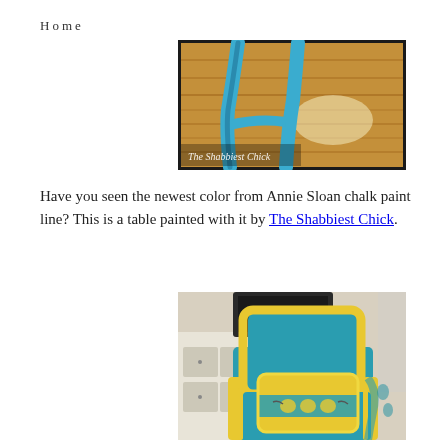Home
[Figure (photo): A teal/turquoise painted table leg on a hardwood floor, with 'The Shabbiest Chick' watermark text on the photo, black border framing.]
Have you seen the newest color from Annie Sloan chalk paint line? This is a table painted with it by The Shabbiest Chick.
[Figure (photo): A teal upholstered wingback chair with yellow trim/piping, and a yellow decorative pillow with teal floral embroidery pattern, placed in a living room setting with white furniture in background.]